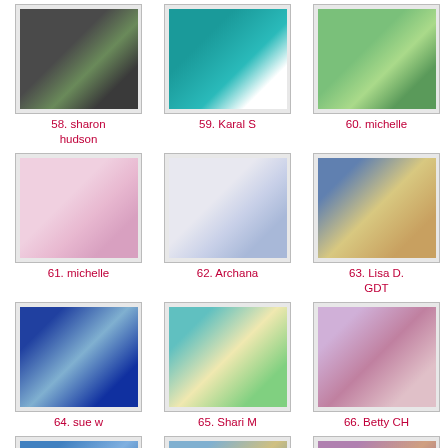[Figure (photo): Thumbnail image 58 - tractor/vehicle craft card]
58. sharon hudson
[Figure (photo): Thumbnail image 59 - birthday card with girl]
59. Karal S
[Figure (photo): Thumbnail image 60 - frog craft card]
60. michelle
[Figure (photo): Thumbnail image 61 - flower craft card]
61. michelle
[Figure (photo): Thumbnail image 62 - swirl craft card]
62. Archana
[Figure (photo): Thumbnail image 63 - children illustration card]
63. Lisa D. GDT
[Figure (photo): Thumbnail image 64 - blue character craft card]
64. sue w
[Figure (photo): Thumbnail image 65 - bear craft card]
65. Shari M
[Figure (photo): Thumbnail image 66 - floral craft card]
66. Betty CH
[Figure (photo): Thumbnail image 67 - blue patterned craft]
67. Doreen
[Figure (photo): Thumbnail image 68 - child illustration card]
68. Debbie S 2nd entry
[Figure (photo): Thumbnail image 69 - clock/gear illustration]
69. carol gill